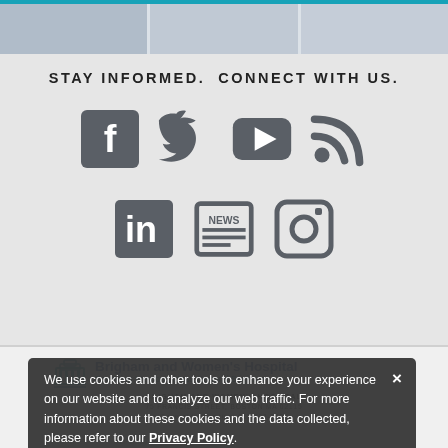[Figure (screenshot): Top image strip with three blurred photo thumbnails side by side]
STAY INFORMED.  CONNECT WITH US.
[Figure (infographic): Social media icons row 1: Facebook, Twitter, YouTube, Blog (RSS)]
[Figure (infographic): Social media icons row 2: LinkedIn, News, Instagram]
[Figure (logo): Brigham and Women's Hospital logo — Founding Member, Mass General Brigham]
BRIGHAM AND WOMEN'S HOSPITAL
75 FRANCIS STREET, BOSTON MA 02115
General Information: 617-732-5500
We use cookies and other tools to enhance your experience on our website and to analyze our web traffic. For more information about these cookies and the data collected, please refer to our Privacy Policy.